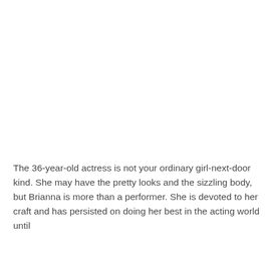The 36-year-old actress is not your ordinary girl-next-door kind. She may have the pretty looks and the sizzling body, but Brianna is more than a performer. She is devoted to her craft and has persisted on doing her best in the acting world until